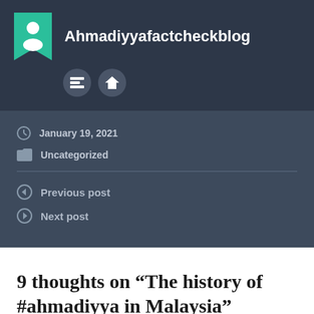Ahmadiyyafactcheckblog
January 19, 2021
Uncategorized
Previous post
Next post
9 thoughts on “The history of #ahmadiyya in Malaysia”